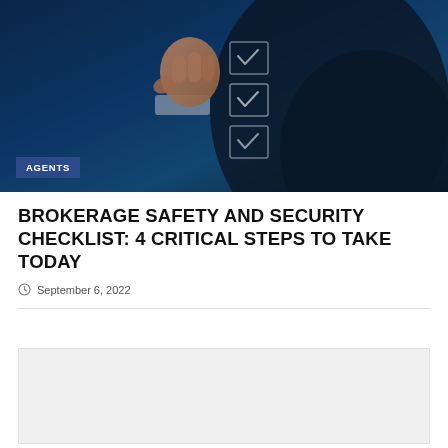[Figure (photo): A business person's hand checking off checkboxes on a transparent surface, against a dark blue background]
AGENTS
BROKERAGE SAFETY AND SECURITY CHECKLIST: 4 CRITICAL STEPS TO TAKE TODAY
September 6, 2022
[Figure (other): Gray placeholder box]